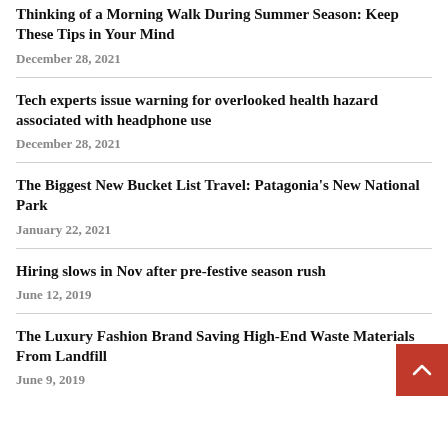Thinking of a Morning Walk During Summer Season: Keep These Tips in Your Mind
December 28, 2021
Tech experts issue warning for overlooked health hazard associated with headphone use
December 28, 2021
The Biggest New Bucket List Travel: Patagonia's New National Park
January 22, 2021
Hiring slows in Nov after pre-festive season rush
June 12, 2019
The Luxury Fashion Brand Saving High-End Waste Materials From Landfill
June 9, 2019